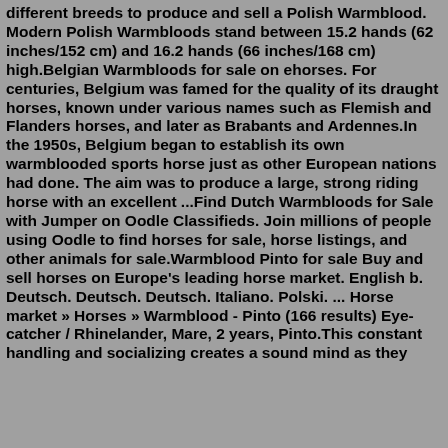different breeds to produce and sell a Polish Warmblood. Modern Polish Warmbloods stand between 15.2 hands (62 inches/152 cm) and 16.2 hands (66 inches/168 cm) high.Belgian Warmbloods for sale on ehorses. For centuries, Belgium was famed for the quality of its draught horses, known under various names such as Flemish and Flanders horses, and later as Brabants and Ardennes.In the 1950s, Belgium began to establish its own warmblooded sports horse just as other European nations had done. The aim was to produce a large, strong riding horse with an excellent ...Find Dutch Warmbloods for Sale with Jumper on Oodle Classifieds. Join millions of people using Oodle to find horses for sale, horse listings, and other animals for sale.Warmblood Pinto for sale Buy and sell horses on Europe's leading horse market. English b. Deutsch. Deutsch. Deutsch. Italiano. Polski. ... Horse market » Horses » Warmblood - Pinto (166 results) Eye-catcher / Rhinelander, Mare, 2 years, Pinto.This constant handling and socializing creates a sound mind as they